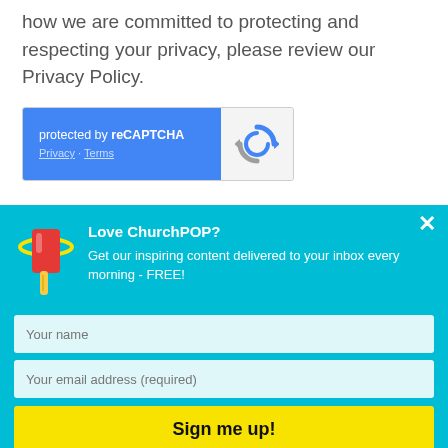how we are committed to protecting and respecting your privacy, please review our Privacy Policy.
[Figure (other): reCAPTCHA widget showing 'protected by reCAPTCHA' with Privacy and Terms links on a blue background, and the reCAPTCHA logo on a grey background]
Love ChurchPOP?
Get our inspiring content delivered to your inbox every morning - FREE!
Your name
Your email address (required)
Sign me up!